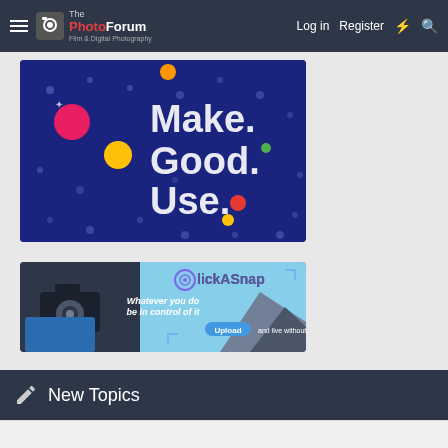The PhotoForum — Film & Digital Photography | Log in | Register
[Figure (illustration): Dark navy blue banner with colorful dots and text 'Make. Good. Use.' in white large font with colored period dots]
[Figure (illustration): ClickASnap advertisement banner: person holding camera, text 'Whatever you do be in control of it', 'Upload and live without algorithms']
New Topics